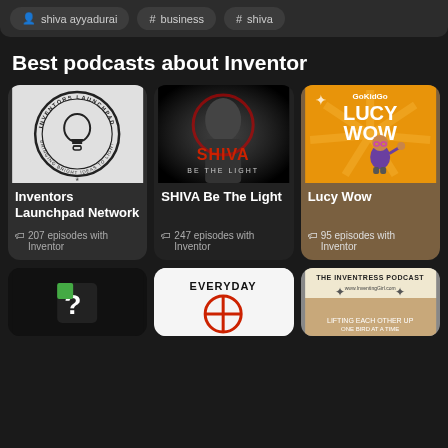shiva ayyadurai  #business  #shiva
Best podcasts about Inventor
[Figure (illustration): Podcast card: Inventors Launchpad Network - circular logo with lightbulb and text 'Bringing Bright Ideas to Light']
Inventors Launchpad Network
207 episodes with Inventor
[Figure (illustration): Podcast card: SHIVA Be The Light - photo of man with red/dark dramatic background and red text 'SHIVA BE THE LIGHT']
SHIVA Be The Light
247 episodes with Inventor
[Figure (illustration): Podcast card: Lucy Wow - GoKidGo branded orange/yellow card with animated girl character flexing]
Lucy Wow
95 episodes with Inventor
[Figure (screenshot): Bottom row partial cards: dark card with green/white logo, white card with 'EVERYDAY' red circular design, photo card with 'THE INVENTRESS PODCAST']